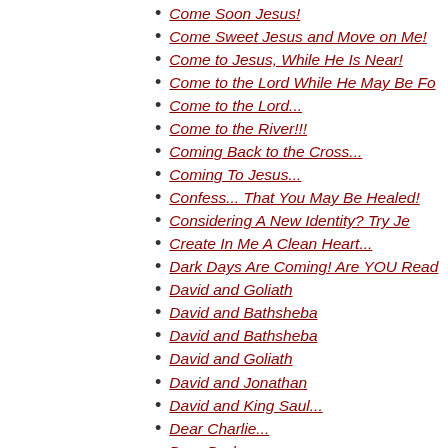Come Soon Jesus!
Come Sweet Jesus and Move on Me!
Come to Jesus, While He Is Near!
Come to the Lord While He May Be Fo
Come to the Lord...
Come to the River!!!
Coming Back to the Cross...
Coming To Jesus...
Confess... That You May Be Healed!
Considering A New Identity? Try Je
Create In Me A Clean Heart...
Dark Days Are Coming! Are YOU Read
David and Goliath
David and Bathsheba
David and Bathsheba
David and Goliath
David and Jonathan
David and King Saul...
Dear Charlie...
Dear Dad...
Dear Deborah Rose...
Dear God How I Love You!!!
Dear God, How I Need You!
Dear God, Please Set Me Free!
Dear God... I Need More Of YOU!
Dear God... I Need Your Forgivenes
Dear God... I Trust You!
Dear Jesus I Love You More Tha
Dear Jesus, Keep Me by Your Side!
Dear Jesus, Take Everything I Own!